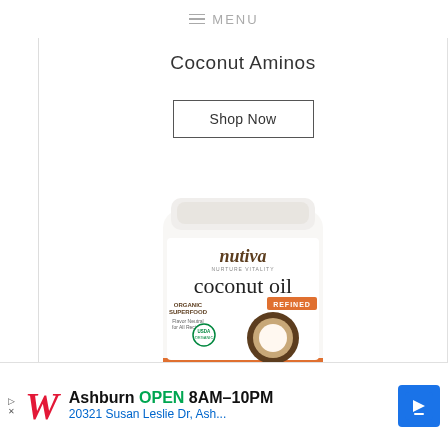≡ MENU
Coconut Aminos
Shop Now
[Figure (photo): Nutiva organic coconut oil jar, refined, with a coconut image on the label]
▷ W Ashburn OPEN 8AM–10PM 20321 Susan Leslie Dr, Ash...